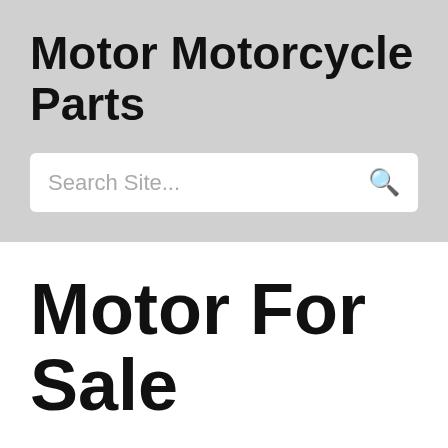Motor Motorcycle Parts
Search Site...
Motor For Sale